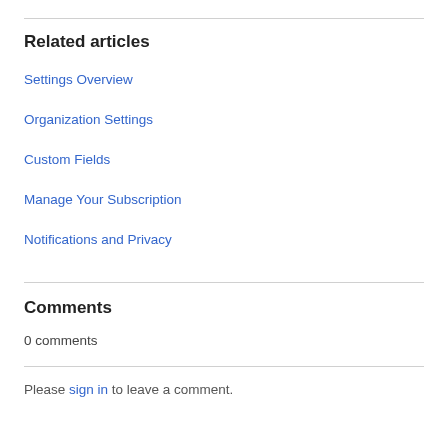Related articles
Settings Overview
Organization Settings
Custom Fields
Manage Your Subscription
Notifications and Privacy
Comments
0 comments
Please sign in to leave a comment.